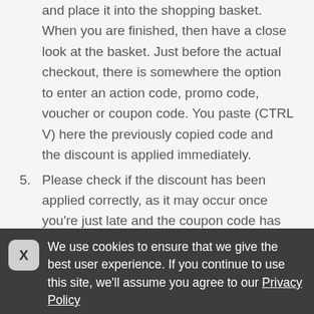and place it into the shopping basket. When you are finished, then have a close look at the basket. Just before the actual checkout, there is somewhere the option to enter an action code, promo code, voucher or coupon code. You paste (CTRL V) here the previously copied code and the discount is applied immediately.
5. Please check if the discount has been applied correctly, as it may occur once you're just late and the coupon code has expired. It may also be that the coupon code is only valid for a particular product. In that case, you can just get a new coupon code from
We use cookies to ensure that we give the best user experience. If you continue to use this site, we'll assume you agree to our Privacy Policy